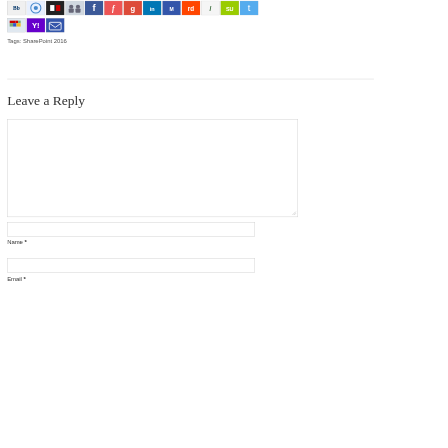[Figure (infographic): Row of social media sharing icons including Bb, circle, del.icio.us, people, Facebook, Friendfeed, Google, LinkedIn, MySpace, Reddit, Scribd, StumbleUpon, Twitter]
[Figure (infographic): Second row of social sharing icons: Windows, Yahoo, Email]
Tags: SharePoint 2016
Leave a Reply
Name *
Email *